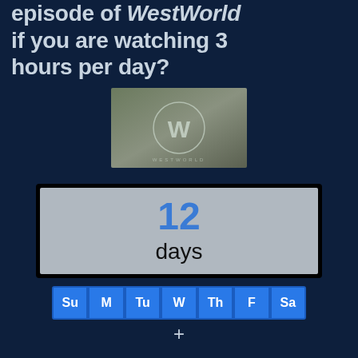episode of Westworld if you are watching 3 hours per day?
[Figure (logo): Westworld logo — a W-shaped stylized mark inside a circle on a dark greenish-grey gradient background]
12 days
Su M Tu W Th F Sa
+